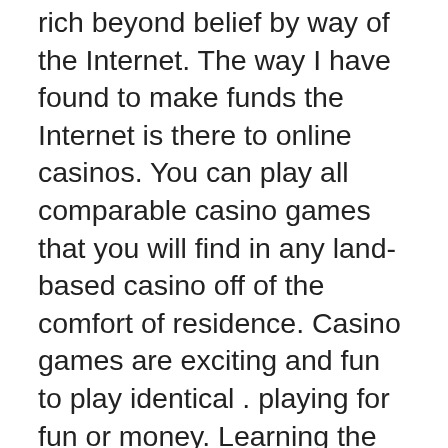rich beyond belief by way of the Internet. The way I have found to make funds the Internet is there to online casinos. You can play all comparable casino games that you will find in any land-based casino off of the comfort of residence. Casino games are exciting and fun to play identical . playing for fun or money. Learning the games and developing a game strategy can greatly improve your possibilities of winning big profit in online casinos. Usually are three options in the event you wish to play casino games within your own.
Scatter symbol on this USA online slot online may be the naughty or nice symbol, 3 symbols activate the bonus game. Four symbols anywhere on the reels pays 20x